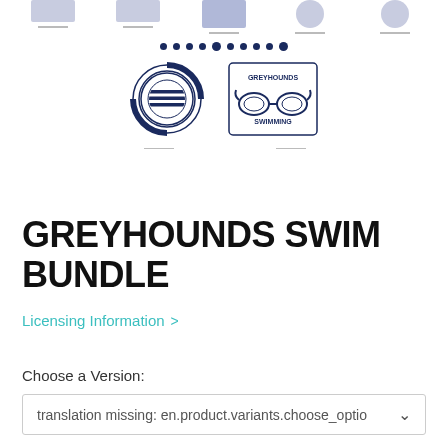[Figure (illustration): Product image area showing thumbnail strip at top with navigation dots, two Greyhounds Swimming logos - a circular lifesaver-style badge and a swimming goggles badge with text 'GREYHOUNDS SWIMMING']
GREYHOUNDS SWIM BUNDLE
Licensing Information >
Choose a Version:
translation missing: en.product.variants.choose_optio